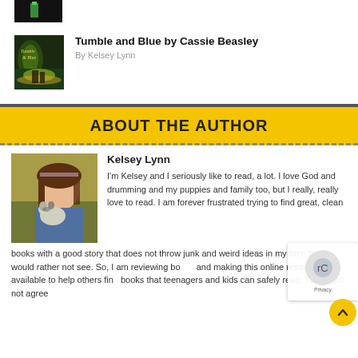[Figure (photo): Book cover thumbnail at top, dark background with green accent]
Tumble and Blue by Cassie Beasley
By Kelsey Lynn
[Figure (photo): Book cover for Tumble and Blue showing a glowing swamp/tree scene with children silhouetted]
ABOUT THE AUTHOR
[Figure (photo): Photo of Kelsey Lynn, a young girl holding a small dog, outdoors with autumn background]
Kelsey Lynn
I'm Kelsey and I seriously like to read, a lot. I love God and drumming and my puppies and family too, but I really, really love to read. I am forever frustrated trying to find great, clean books with a good story that does not throw junk and weird ideas in my face that I would rather not see. So, I am reviewing books and making this online resource available to help others find books that teenagers and kids can safely read. You might not agree